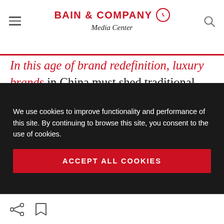BAIN & COMPANY Media Center
In this age of brand redefinition, luxury brands in China must shed traditional concepts and channels and follow where their customers lead, or risk losing them,” said Lannes. “This may be a challenge for many, but those that understand how to change with the consumer will reap the rewards.”
We use cookies to improve functionality and performance of this site. By continuing to browse this site, you consent to the use of cookies.
ACCEPT ALL COOKIES